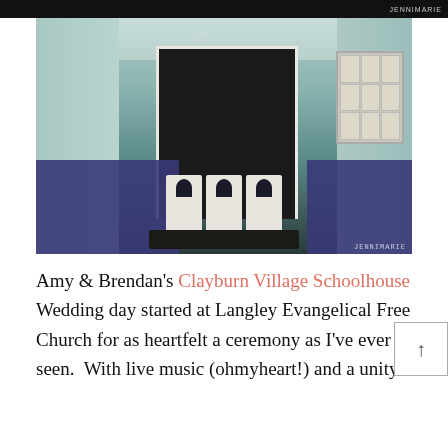[Figure (photo): Interior of Clayburn Village Schoolhouse wedding venue. Light teal/mint painted wood walls, a central doorway leading into a dark interior, white chair covers with navy sashes arranged at the entrance, navy blue tablecloths on tables on either side, string lights along the ceiling, a window display board on the right, and a dark floor mat. A heart-shaped ornament hangs above the doorway. Watermark reads JENNIMARIE.]
Amy & Brendan's Clayburn Village Schoolhouse Wedding day started at Langley Evangelical Free Church for as heartfelt a ceremony as I've ever seen. With live music (ohmyheart!) and a unity